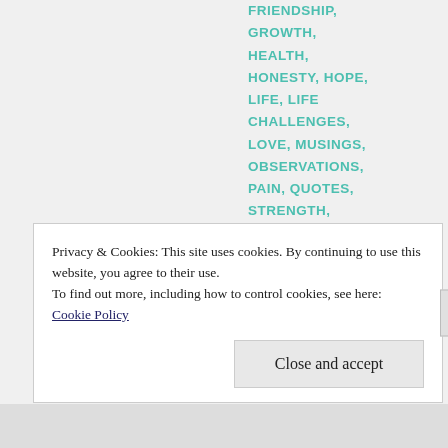FRIENDSHIP,
GROWTH,
HEALTH,
HONESTY, HOPE,
LIFE, LIFE CHALLENGES,
LOVE, MUSINGS,
OBSERVATIONS,
PAIN, QUOTES,
STRENGTH,
STRESS, TRUTH,
WISDOM
Privacy & Cookies: This site uses cookies. By continuing to use this website, you agree to their use.
To find out more, including how to control cookies, see here: Cookie Policy
Close and accept